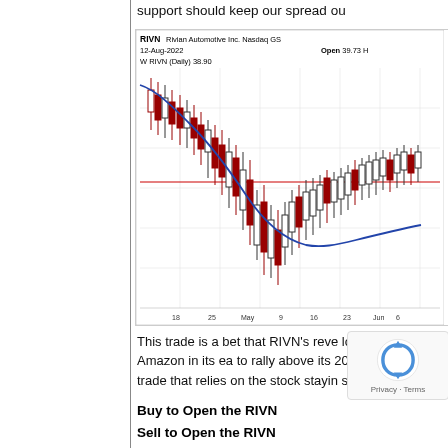support should keep our spread ou
[Figure (continuous-plot): RIVN Rivian Automotive Inc. Nasdaq GS daily candlestick chart dated 12-Aug-2022, Open 39.73. Shows daily price bars (RIVN Daily 38.90) with a descending blue moving average curve and a horizontal red support line. X-axis shows dates from mid-April through early June (18, 25, May, 9, 16, 23, Jun 6).]
This trade is a bet that RIVN's reve losses, much like Amazon in its ea to rally above its 20-day moving av trade that relies on the stock stayin seven weeks:
Buy to Open the RIVN
Sell to Open the RIVN
(selling a vertical)